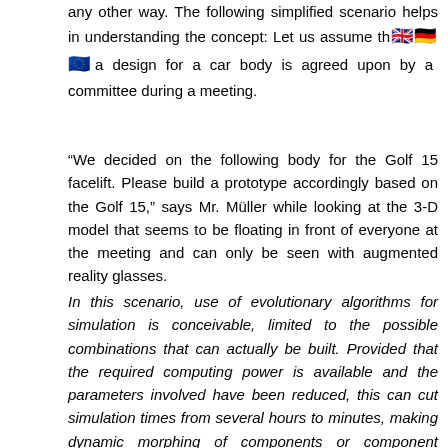any other way. The following simplified scenario helps in understanding the concept: Let us assume that the master design for a car body is agreed upon by a committee during a meeting.
“We decided on the following body for the Golf 15 facelift. Please build a prototype accordingly based on the Golf 15,” says Mr. Müller while looking at the 3-D model that seems to be floating in front of everyone at the meeting and can only be seen with augmented reality glasses.
In this scenario, use of evolutionary algorithms for simulation is conceivable, limited to the possible combinations that can actually be built. Provided that the required computing power is available and the parameters involved have been reduced, this can cut simulation times from several hours to minutes, making dynamic morphing of components or component combinations possible during a meeting.
Factory : “Based on the model input, I determined that it will take 26 minutes to adjust the programming of my robots. In order to assemble the floor assembly, tools x₁, y₁ must be replaced with tools xₙ, yₙ on robots x, y. Production of the